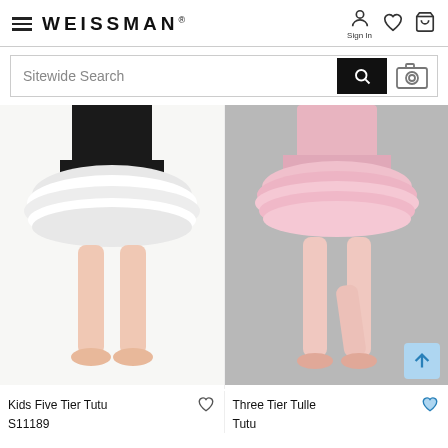WEISSMAN
[Figure (screenshot): Weissman website header with hamburger menu, brand name WEISSMAN, sign in icon, heart/wishlist icon, and shopping bag icon]
[Figure (screenshot): Sitewide Search bar with black search button and camera icon]
[Figure (photo): Kids Five Tier Tutu S11189 - child wearing black leotard with white fluffy tutu skirt and pink ballet slippers on white background]
Kids Five Tier Tutu
S11189
[Figure (photo): Three Tier Tulle Tutu - child wearing pink leotard with pink multi-tier tulle tutu skirt and pink pointe shoes on grey background]
Three Tier Tulle Tutu